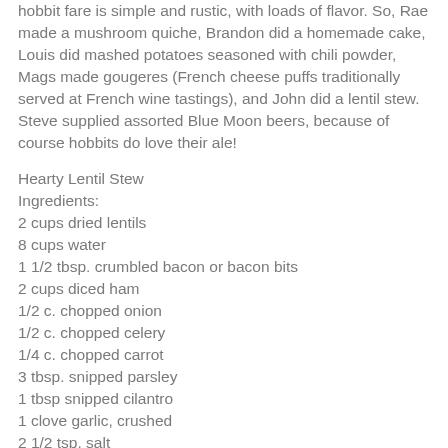hobbit fare is simple and rustic, with loads of flavor. So, Rae made a mushroom quiche, Brandon did a homemade cake, Louis did mashed potatoes seasoned with chili powder, Mags made gougeres (French cheese puffs traditionally served at French wine tastings), and John did a lentil stew. Steve supplied assorted Blue Moon beers, because of course hobbits do love their ale!
Hearty Lentil Stew
Ingredients:
2 cups dried lentils
8 cups water
1 1/2 tbsp. crumbled bacon or bacon bits
2 cups diced ham
1/2 c. chopped onion
1/2 c. chopped celery
1/4 c. chopped carrot
3 tbsp. snipped parsley
1 tbsp snipped cilantro
1 clove garlic, crushed
2 1/2 tsp. salt
1/4 tsp. ground black pepper
1/2 tsp. chili powder or